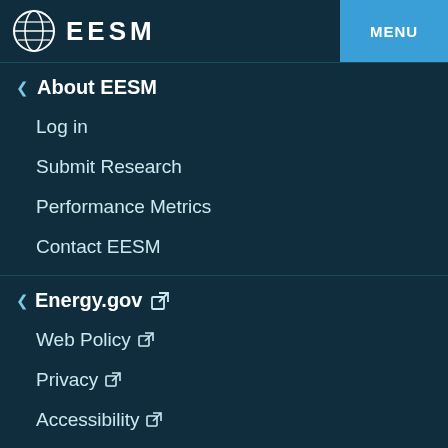EESM  MENU
About EESM
Log in
Submit Research
Performance Metrics
Contact EESM
Energy.gov
Web Policy
Privacy
Accessibility
Vulnerability Disclosure Program
Office of Science